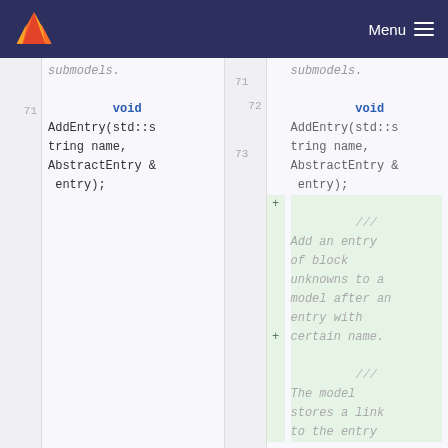Menu
71  submodels.
71  void AddEntry(std::string name, AbstractEntry & entry);
72 +  /// Add an entry of block unknowns to a model after an entry with certain name.
73 +  /// The model stores a link to the entry ...
71  submodels.
71  void AddEntry(std::string name, AbstractEntry & entry);